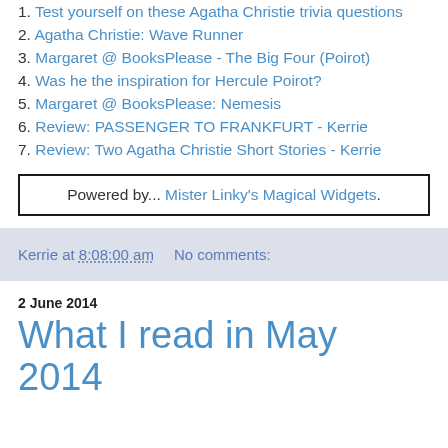1. Test yourself on these Agatha Christie trivia questions
2. Agatha Christie: Wave Runner
3. Margaret @ BooksPlease - The Big Four (Poirot)
4. Was he the inspiration for Hercule Poirot?
5. Margaret @ BooksPlease: Nemesis
6. Review: PASSENGER TO FRANKFURT - Kerrie
7. Review: Two Agatha Christie Short Stories - Kerrie
Powered by... Mister Linky's Magical Widgets.
Kerrie at 8:08:00 am   No comments:
2 June 2014
What I read in May 2014